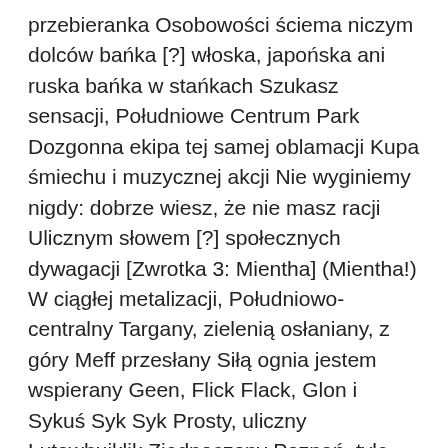przebieranka Osobowości ściema niczym dolców bańka [?] włoska, japońska ani ruska bańka w stańkach Szukasz sensacji, Południowe Centrum Park Dozgonna ekipa tej samej oblamacji Kupa śmiechu i muzycznej akcji Nie wyginiemy nigdy: dobrze wiesz, że nie masz racji Ulicznym słowem [?] społecznych dywagacji [Zwrotka 3: Mientha] (Mientha!) W ciągłej metalizacji, Południowo-centralny Targany, zielenią osłaniany, z góry Meff przesłany Siłą ognia jestem wspierany Geen, Flick Flack, Glon i Sykuś Syk Syk Prosty, uliczny Lutawhuiklik Zjednoczony Poznań, tyle zobowiązań Doznań, ulicznych powiązań – jak kto woli PCP, jak kto chce Nie mów "nie", tylko nabij kane i chuj! Będzie Lutawhui, Lutawhuii! To ja, Mefi Mientha, jestem podzielony 100trzydzieści2 Podwojony, płomieniem rozpalony i nieugaszony Tak jak mój i brat Synek! Z Flick Flack Anymaniak (Anymaniak) [Zwrotka 4: Senne Oko] Pytasz: "Kto to?" – Senne Oko WRE Maniakalni debiutanci